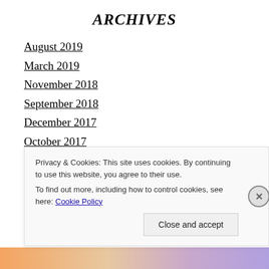ARCHIVES
August 2019
March 2019
November 2018
September 2018
December 2017
October 2017
July 2017
May 2017
April 2017
Privacy & Cookies: This site uses cookies. By continuing to use this website, you agree to their use.
To find out more, including how to control cookies, see here: Cookie Policy
Close and accept